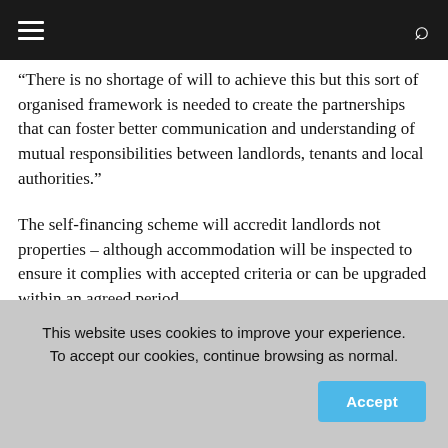navigation bar with hamburger menu and search icon
“There is no shortage of will to achieve this but this sort of organised framework is needed to create the partnerships that can foster better communication and understanding of mutual responsibilities between landlords, tenants and local authorities.”
The self-financing scheme will accredit landlords not properties – although accommodation will be inspected to ensure it complies with accepted criteria or can be upgraded within an agreed period.
This website uses cookies to improve your experience. To accept our cookies, continue browsing as normal.
Accept